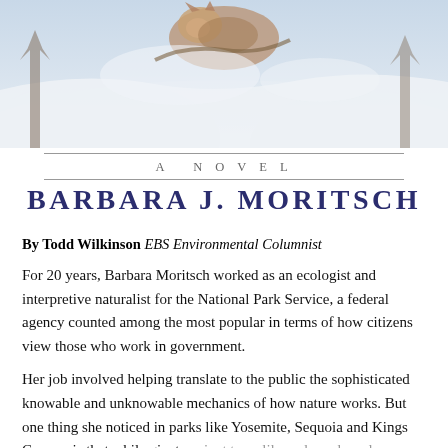[Figure (illustration): Book cover illustration showing a wolf or large animal in a snowy mountain landscape with trees, painted in watercolor style]
A NOVEL
BARBARA J. MORITSCH
By Todd Wilkinson EBS Environmental Columnist
For 20 years, Barbara Moritsch worked as an ecologist and interpretive naturalist for the National Park Service, a federal agency counted among the most popular in terms of how citizens view those who work in government.
Her job involved helping translate to the public the sophisticated knowable and unknowable mechanics of how nature works. But one thing she noticed in parks like Yosemite, Sequoia and Kings Canyon is that while giant ancient trees like redwoods and sequoias were protected